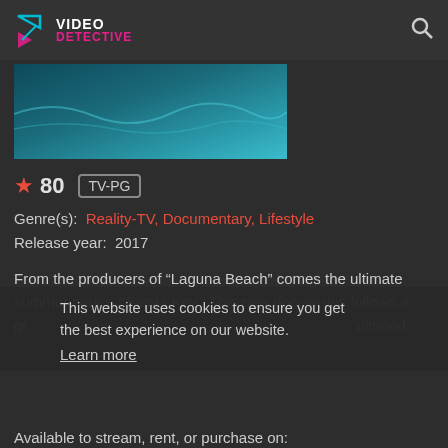VIDEO DETECTIVE
[Figure (screenshot): Thumbnail image showing teal/blue water scene from Siesta Key]
★ 80  TV-PG
Genre(s): Reality-TV, Documentary, Lifestyle
Release year: 2017
From the producers of "Laguna Beach" comes the ultimate summer series, "Siesta Key." This new docuseries follows a group of friends navigating love, heartbreak, and adulthood.
This website uses cookies to ensure you get the best experience on our website.
Learn more
Available to stream, rent, or purchase on:
Got it!
iTunes Store   Google Play